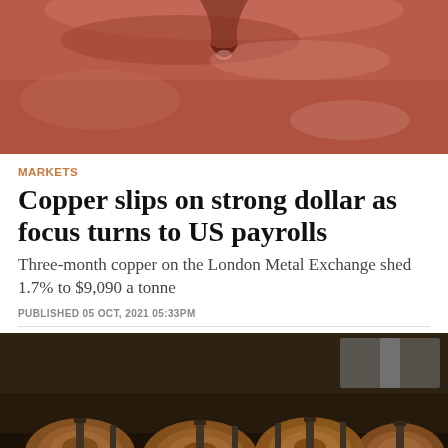[Figure (photo): Close-up photograph of copper material with reddish-brown textured surface]
MARKETS
Copper slips on strong dollar as focus turns to US payrolls
Three-month copper on the London Metal Exchange shed 1.7% to $9,090 a tonne
PUBLISHED 05 OCT, 2021 05:33PM
[Figure (photo): Photograph of copper wire coils/spools stacked in an industrial warehouse setting]